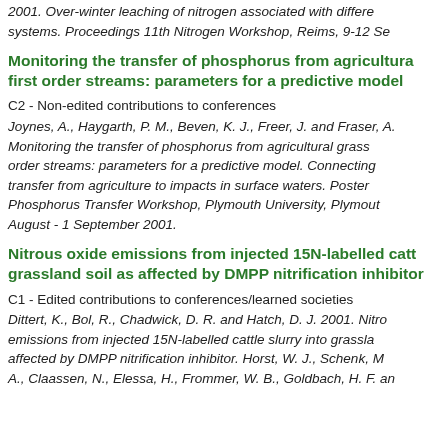2001. Over-winter leaching of nitrogen associated with different systems. Proceedings 11th Nitrogen Workshop, Reims, 9-12 Se
Monitoring the transfer of phosphorus from agricultural first order streams: parameters for a predictive model
C2 - Non-edited contributions to conferences
Joynes, A., Haygarth, P. M., Beven, K. J., Freer, J. and Fraser, A. Monitoring the transfer of phosphorus from agricultural grassland to first order streams: parameters for a predictive model. Connecting phosphorus transfer from agriculture to impacts in surface waters. Poster at Phosphorus Transfer Workshop, Plymouth University, Plymouth. 30 August - 1 September 2001.
Nitrous oxide emissions from injected 15N-labelled cattle slurry into grassland soil as affected by DMPP nitrification inhibitor
C1 - Edited contributions to conferences/learned societies
Dittert, K., Bol, R., Chadwick, D. R. and Hatch, D. J. 2001. Nitrous oxide emissions from injected 15N-labelled cattle slurry into grassland soil as affected by DMPP nitrification inhibitor. Horst, W. J., Schenk, M. A., Claassen, N., Elessa, H., Frommer, W. B., Goldbach, H. F. an